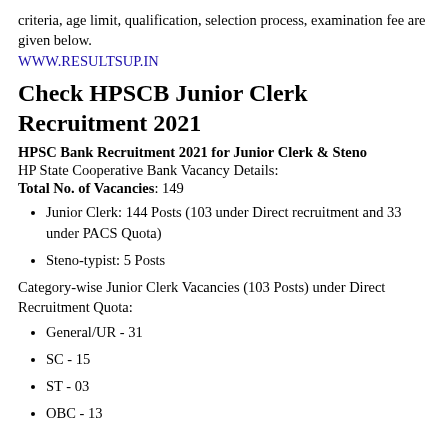criteria, age limit, qualification, selection process, examination fee are given below.
WWW.RESULTSUP.IN
Check HPSCB Junior Clerk Recruitment 2021
HPSC Bank Recruitment 2021 for Junior Clerk & Steno
HP State Cooperative Bank Vacancy Details:
Total No. of Vacancies: 149
Junior Clerk: 144 Posts (103 under Direct recruitment and 33 under PACS Quota)
Steno-typist: 5 Posts
Category-wise Junior Clerk Vacancies (103 Posts) under Direct Recruitment Quota:
General/UR - 31
SC - 15
ST - 03
OBC - 13